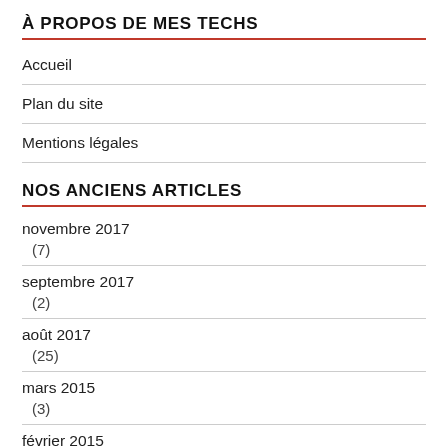À PROPOS DE MES TECHS
Accueil
Plan du site
Mentions légales
NOS ANCIENS ARTICLES
novembre 2017
 (7)
septembre 2017
 (2)
août 2017
 (25)
mars 2015
 (3)
février 2015